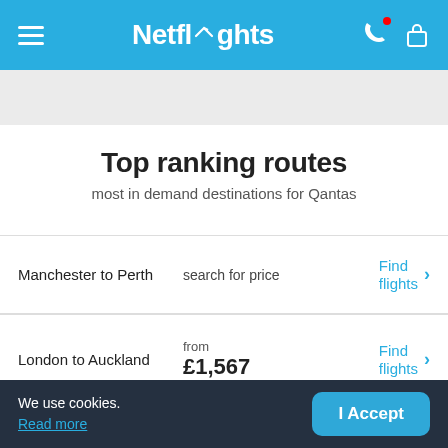Netflights
Top ranking routes
most in demand destinations for Qantas
| Route | Price | Action |
| --- | --- | --- |
| Manchester to Perth | search for price | Find flights |
| London to Auckland | from £1,567 | Find flights |
We use cookies. Read more  I Accept